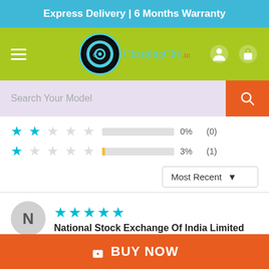Express Delivery | 6 Months Warranty
[Figure (screenshot): Navigation bar with hamburger menu, ChargingCity.in logo, user account icon, and shopping bag icon on green background]
Search Your Model
2 stars 0% (0)
1 star 3% (1)
Most Recent
N
National Stock Exchange Of India Limited
Great product for such price..
Good Deal to purchase it.
BUY NOW